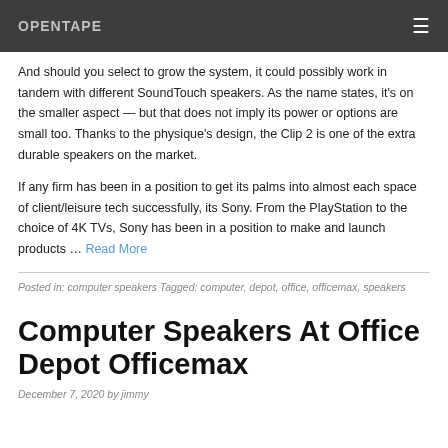OPENTAPE
And should you select to grow the system, it could possibly work in tandem with different SoundTouch speakers. As the name states, it's on the smaller aspect — but that does not imply its power or options are small too. Thanks to the physique's design, the Clip 2 is one of the extra durable speakers on the market.
If any firm has been in a position to get its palms into almost each space of client/leisure tech successfully, its Sony. From the PlayStation to the choice of 4K TVs, Sony has been in a position to make and launch products … Read More
Posted in: computer speakers Tagged: computer, depot, office, officemax, speakers
Computer Speakers At Office Depot Officemax
December 7, 2020 by jimmy